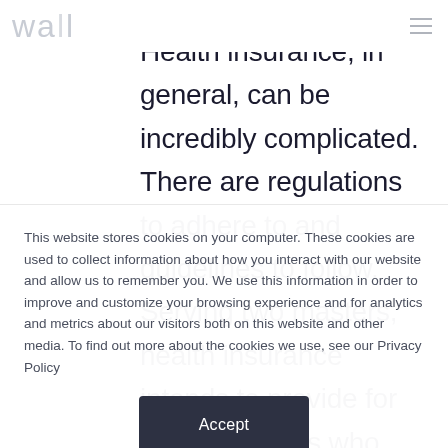wall [logo] [hamburger menu]
Health insurance, in general, can be incredibly complicated. There are regulations to adhere to and guidelines to follow. Serving two masters, health insurance intends to provide for the consumers who need affordable coverage while insurance providers still drive toward
This website stores cookies on your computer. These cookies are used to collect information about how you interact with our website and allow us to remember you. We use this information in order to improve and customize your browsing experience and for analytics and metrics about our visitors both on this website and other media. To find out more about the cookies we use, see our Privacy Policy
Accept